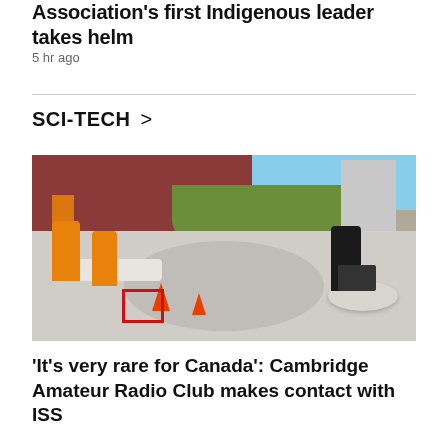Association's first Indigenous leader takes helm
5 hr ago
SCI-TECH >
[Figure (photo): People in orange safety vests on a rooftop patio with orange traffic cones, a laptop, white benches and a round table, brick wall and greenery in background.]
'It's very rare for Canada': Cambridge Amateur Radio Club makes contact with ISS